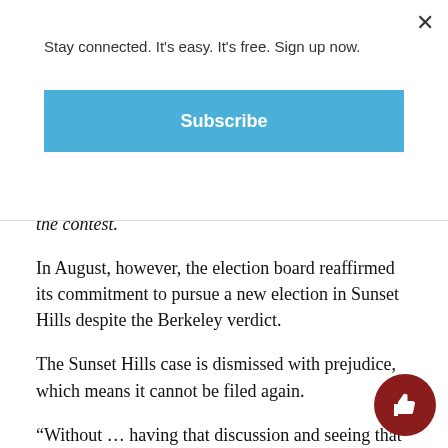Stay connected. It's easy. It's free. Sign up now.
Subscribe
but Judge Maura McShane ruled against a redo of the contest.
In August, however, the election board reaffirmed its commitment to pursue a new election in Sunset Hills despite the Berkeley verdict.
The Sunset Hills case is dismissed with prejudice, which means it cannot be filed again.
“Without … having that discussion and seeing that documentation, it baffles me how the board’s attorneys could decide to dismiss this case with prejudice,” said Hardy, who did not hire his own attorney in the case. “I doesn’t make sense to me, nor does it even attempt to